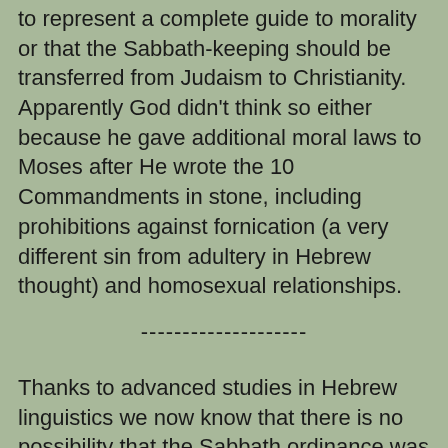to represent a complete guide to morality or that the Sabbath-keeping should be transferred from Judaism to Christianity. Apparently God didn't think so either because he gave additional moral laws to Moses after He wrote the 10 Commandments in stone, including prohibitions against fornication (a very different sin from adultery in Hebrew thought) and homosexual relationships.
--------------------
Thanks to advanced studies in Hebrew linguistics we now know that there is no possibility that the Sabbath ordinance was imposed on God's people until the time of the Exodus. We also know that Heathen societies that predated Exodus Era Israel had a “sabbath” concept based on the four phases of the moon and fertility themes. The next logical step requires the obvious conclusion, and that  is that the sabbath of primitives and fertility associations that